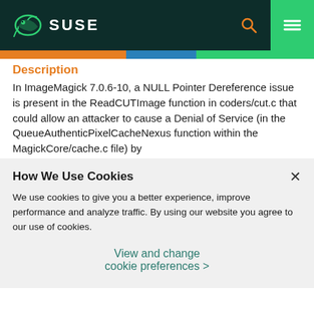SUSE
Description
In ImageMagick 7.0.6-10, a NULL Pointer Dereference issue is present in the ReadCUTImage function in coders/cut.c that could allow an attacker to cause a Denial of Service (in the QueueAuthenticPixelCacheNexus function within the MagickCore/cache.c file) by
How We Use Cookies
We use cookies to give you a better experience, improve performance and analyze traffic. By using our website you agree to our use of cookies.
View and change cookie preferences >